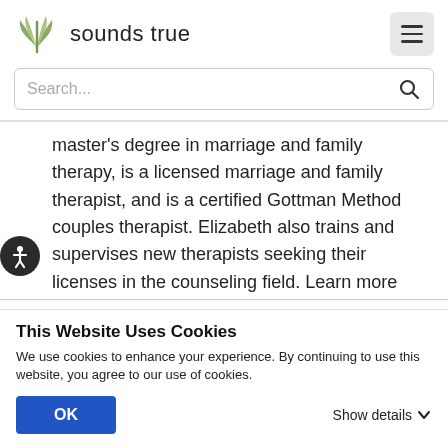sounds true
Search...
master's degree in marriage and family therapy, is a licensed marriage and family therapist, and is a certified Gottman Method couples therapist. Elizabeth also trains and supervises new therapists seeking their licenses in the counseling field. Learn more
This Website Uses Cookies
We use cookies to enhance your experience. By continuing to use this website, you agree to our use of cookies.
OK
Show details